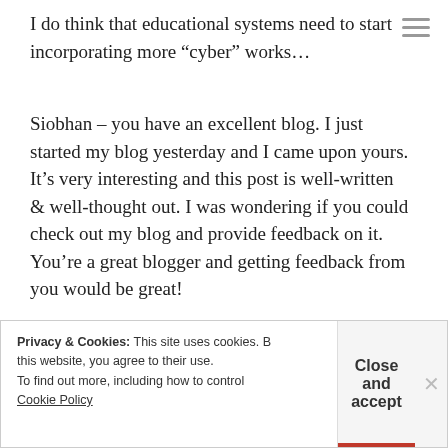I do think that educational systems need to start incorporating more “cyber” works…
Siobhan – you have an excellent blog. I just started my blog yesterday and I came upon yours. It’s very interesting and this post is well-written & well-thought out. I was wondering if you could check out my blog and provide feedback on it. You’re a great blogger and getting feedback from you would be great!
★ Like
Privacy & Cookies: This site uses cookies. By continuing to use this website, you agree to their use. To find out more, including how to control cookies, see here: Cookie Policy
Close and accept